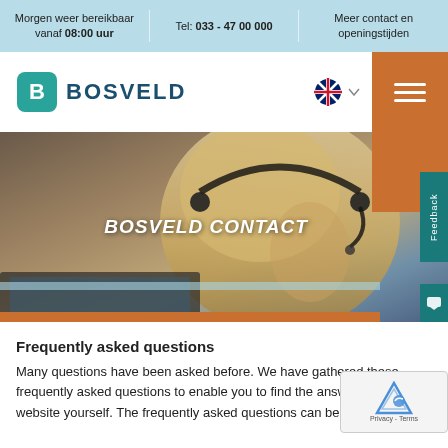Morgen weer bereikbaar vanaf 08:00 uur | Tel: 033 - 47 00 000 | Meer contact en openingstijden
[Figure (logo): Bosveld logo with teal rounded square icon containing letter B, and text BOSVELD in dark blue, with UK flag language selector and orange hamburger menu button]
[Figure (photo): Hero image showing a woman with headset and microphone working at a computer, overlaid with italic bold white text BOSVELD CONTACT, with teal stripe and orange bar]
Frequently asked questions
Many questions have been asked before. We have gathered these frequently asked questions to enable you to find the answers on our website yourself. The frequently asked questions can be found here.